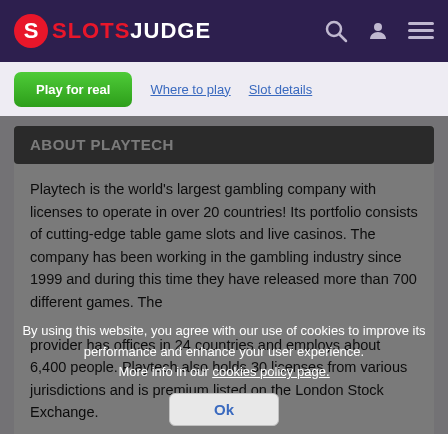SLOTSJUDGE
ABOUT PLAYTECH
Playtech is the world's largest gambling company with licenses to operate in over 20 countries! Its portfolio consists of cutting-edge table game slots and live casinos. The company has been working in the gambling industry since 1999 and during this time they have released more than 700 different games. The provider has offices in 24 countries and employs about 6,400 people. Playtech also holds 30 licenses from various jurisdictions and is premium listed on the London Stock Exchange.
By using this website, you agree with our use of cookies to improve its performance and enhance your user experience. More info in our cookies policy page.